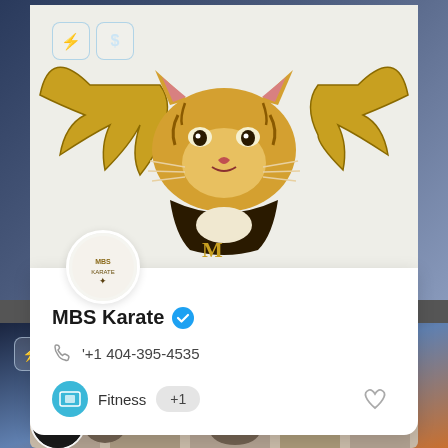[Figure (screenshot): Mobile app screenshot showing a business listing card for MBS Karate with a winged tiger logo at the top, contact info including phone +1 404-395-4535, Fitness category tag, and a second listing below with a CLOSED status badge over a building photo.]
MBS Karate
'+1 404-395-4535
Fitness +1